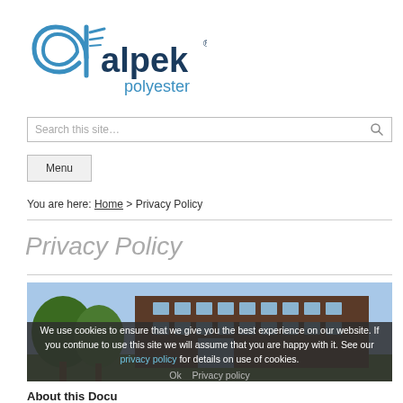[Figure (logo): Alpek Polyester logo — stylized 'a' icon in teal/blue with 'alpek' in dark blue and 'polyester' in teal below]
Search this site…
Menu
You are here: Home > Privacy Policy
Privacy Policy
[Figure (photo): Photo of a modern multi-story building with trees in the foreground and a blue sky background — appears to be a corporate facility]
We use cookies to ensure that we give you the best experience on our website. If you continue to use this site we will assume that you are happy with it. See our privacy policy for details on use of cookies.
Ok   Privacy policy
About this Document